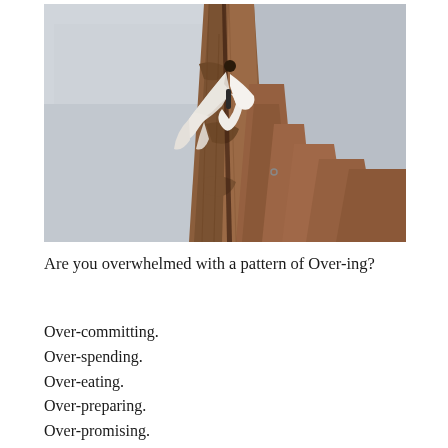[Figure (photo): A person in a white flowing garment climbing or perched on a tall reddish-brown rock formation (sandstone spire), with a grey overcast sky in the background.]
Are you overwhelmed with a pattern of Over-ing?
Over-committing.
Over-spending.
Over-eating.
Over-preparing.
Over-promising.
Over-dramatizing.
Over-drinking.